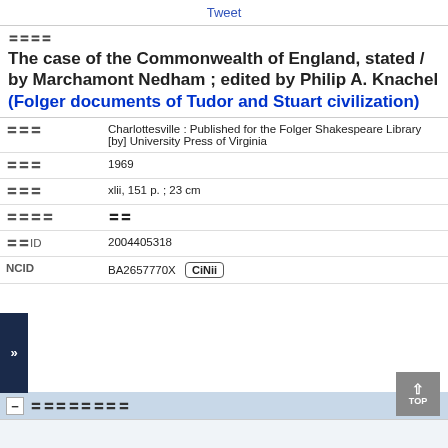Tweet
〓〓〓〓
The case of the Commonwealth of England, stated / by Marchamont Nedham ; edited by Philip A. Knachel (Folger documents of Tudor and Stuart civilization)
| Field | Value |
| --- | --- |
| 〓〓〓 | Charlottesville : Published for the Folger Shakespeare Library [by] University Press of Virginia |
| 〓〓〓 | 1969 |
| 〓〓〓 | xlii, 151 p. ; 23 cm |
| 〓〓〓〓 | 〓〓 |
| 〓〓ID | 2004405318 |
| NCID | BA2657770X  CiNii |
〓〓〓〓〓〓〓〓